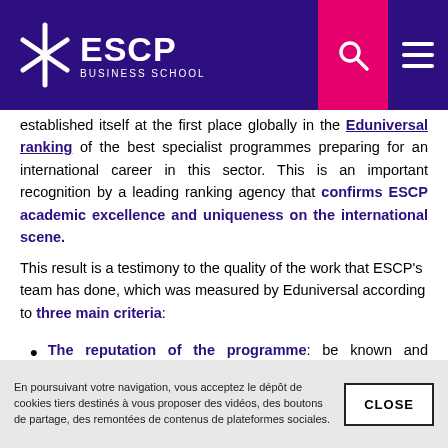ESCP Business School
established itself at the first place globally in the Eduniversal ranking of the best specialist programmes preparing for an international career in this sector. This is an important recognition by a leading ranking agency that confirms ESCP academic excellence and uniqueness on the international scene.
This result is a testimony to the quality of the work that ESCP's team has done, which was measured by Eduniversal according to three main criteria:
The reputation of the programme: be known and recognised by recruiting companies and have an active approach towards them.
En poursuivant votre navigation, vous acceptez le dépôt de cookies tiers destinés à vous proposer des vidéos, des boutons de partage, des remontées de contenus de plateformes sociales.